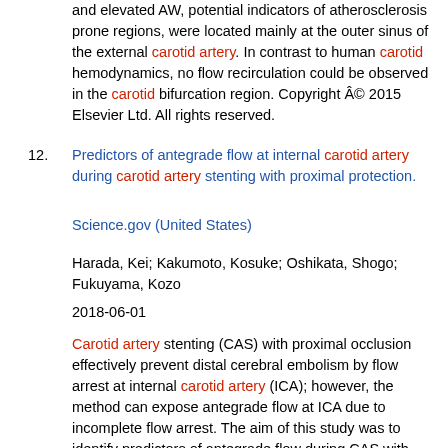and elevated AW, potential indicators of atherosclerosis prone regions, were located mainly at the outer sinus of the external carotid artery. In contrast to human carotid hemodynamics, no flow recirculation could be observed in the carotid bifurcation region. Copyright © 2015 Elsevier Ltd. All rights reserved.
12. Predictors of antegrade flow at internal carotid artery during carotid artery stenting with proximal protection.
Science.gov (United States)
Harada, Kei; Kakumoto, Kosuke; Oshikata, Shogo; Fukuyama, Kozo
2018-06-01
Carotid artery stenting (CAS) with proximal occlusion effectively prevent distal cerebral embolism by flow arrest at internal carotid artery (ICA); however, the method can expose antegrade flow at ICA due to incomplete flow arrest. The aim of this study was to identify predictors of antegrade flow during CAS with proximal protection. We retrospectively analyzed clinical and angiographic data among 143 lesions treated with CAS with proximal protection by occluding the common carotid